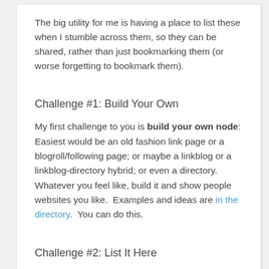The big utility for me is having a place to list these when I stumble across them, so they can be shared, rather than just bookmarking them (or worse forgetting to bookmark them).
Challenge #1: Build Your Own
My first challenge to you is build your own node: Easiest would be an old fashion link page or a blogroll/following page; or maybe a linkblog or a linkblog-directory hybrid; or even a directory. Whatever you feel like, build it and show people websites you like.  Examples and ideas are in the directory.  You can do this.
Challenge #2: List It Here
You might already have a linkblog, link page or big